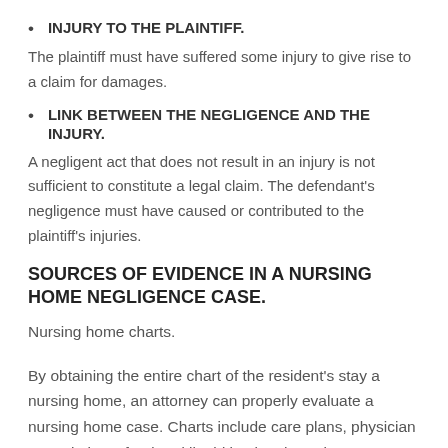INJURY TO THE PLAINTIFF.
The plaintiff must have suffered some injury to give rise to a claim for damages.
LINK BETWEEN THE NEGLIGENCE AND THE INJURY.
A negligent act that does not result in an injury is not sufficient to constitute a legal claim. The defendant's negligence must have caused or contributed to the plaintiff's injuries.
SOURCES OF EVIDENCE IN A NURSING HOME NEGLIGENCE CASE.
Nursing home charts.
By obtaining the entire chart of the resident's stay a nursing home, an attorney can properly evaluate a nursing home case. Charts include care plans, physician prescriptions, food and liquid intake, therapist notes, laboratory reports, social and religious activities, and other